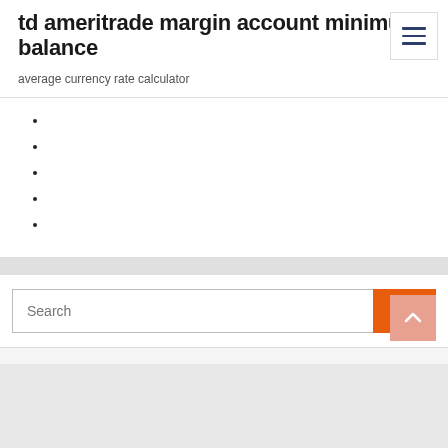td ameritrade margin account minimum balance
average currency rate calculator
Search
Go